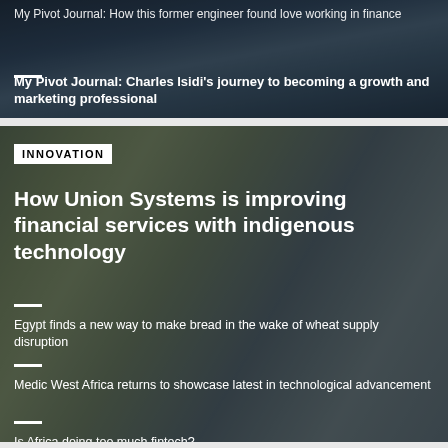My Pivot Journal: How this former engineer found love working in finance
[Figure (photo): Background photo of a long pier or bridge extending over water at sunset/dusk, dark atmospheric tone]
My Pivot Journal: Charles Isidi’s journey to becoming a growth and marketing professional
[Figure (photo): Photo of medical/laboratory workers in white coats and blue hairnets working in a lab or processing facility]
INNOVATION
How Union Systems is improving financial services with indigenous technology
Egypt finds a new way to make bread in the wake of wheat supply disruption
Medic West Africa returns to showcase latest in technological advancement
Is Africa doing too much fintech?